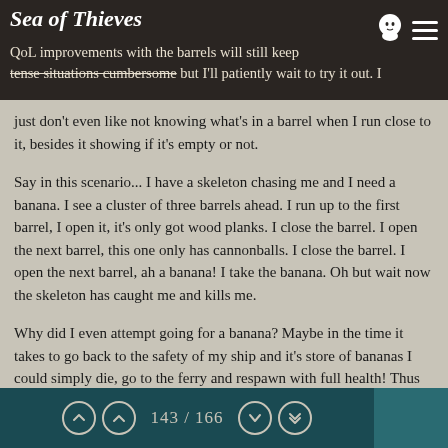Sea of Thieves | QoL improvements with the barrels will still keep tense situations cumbersome but I'll patiently wait to try it out. I just don't even like not knowing what's in a barrel when I run close to it, besides it showing if it's empty or not.
Just don't even like not knowing what's in a barrel when I run close to it, besides it showing if it's empty or not.
Say in this scenario... I have a skeleton chasing me and I need a banana. I see a cluster of three barrels ahead. I run up to the first barrel, I open it, it's only got wood planks. I close the barrel. I open the next barrel, this one only has cannonballs. I close the barrel. I open the next barrel, ah a banana! I take the banana. Oh but wait now the skeleton has caught me and kills me.
Why did I even attempt going for a banana? Maybe in the time it takes to go back to the safety of my ship and it's store of bananas I could simply die, go to the ferry and respawn with full health! Thus not wasting any bananas! I don't think these are the kind of player decisions you want in the game.
143 / 166